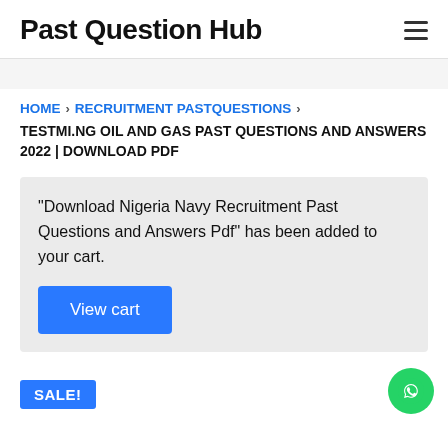Past Question Hub
HOME › RECRUITMENT PASTQUESTIONS › TESTMI.NG OIL AND GAS PAST QUESTIONS AND ANSWERS 2022 | DOWNLOAD PDF
“Download Nigeria Navy Recruitment Past Questions and Answers Pdf” has been added to your cart.
View cart
SALE!